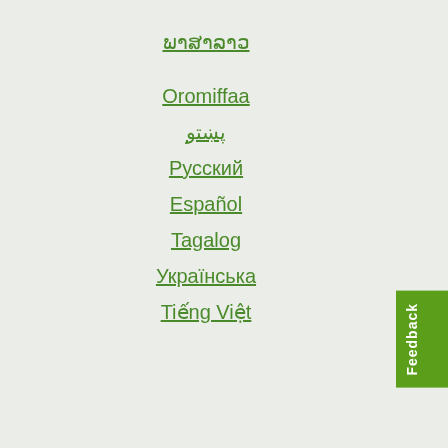ພາສາລາວ
Oromiffaa
پښتو
Русский
Español
Tagalog
Українська
Tiếng Việt